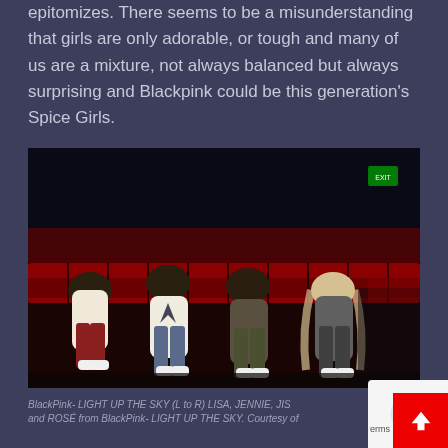epitomizes. There seems to be a misunderstanding that girls are only adorable, or tough and many of us are a mixture, not always balanced but always surprising and Blackpink could be this generation's Spice Girls.
[Figure (photo): Four members of Blackpink (LISA, JENNIE, JISOO, and ROSÉ) sitting in a dark cinema/theater with red seats, photographed for LIGHT UP THE SKY documentary.]
BlackPink- LIGHT UP THE SKY (L to R) LISA, JENNIE, JISOO and ROSÉ from BlackPink- LIGHT UP THE SKY. Courtesy of